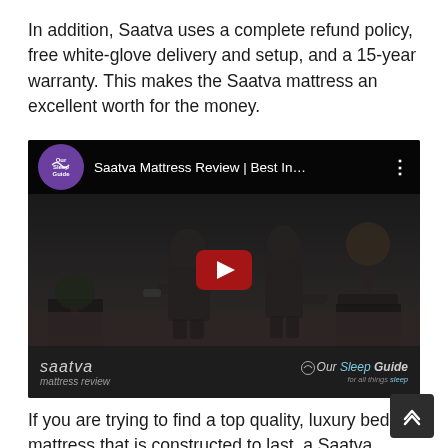In addition, Saatva uses a complete refund policy, free white-glove delivery and setup, and a 15-year warranty. This makes the Saatva mattress an excellent worth for the money.
[Figure (screenshot): YouTube video embed showing 'Saatva Mattress Review | Best In...' by Our Sleep Guide channel. Two people sit on a bed in a dark-toned video frame with a red YouTube play button in the center. Bottom overlay shows 'saatva mattress review' on the left and 'Our Sleep Guide for all things sleep' logo on the right.]
If you are trying to find a top quality, luxury bed mattress that is constructed to last, a Saatva